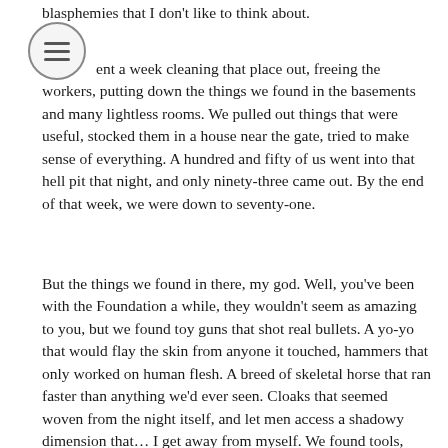blasphemies that I don't like to think about.
ent a week cleaning that place out, freeing the workers, putting down the things we found in the basements and many lightless rooms. We pulled out things that were useful, stocked them in a house near the gate, tried to make sense of everything. A hundred and fifty of us went into that hell pit that night, and only ninety-three came out. By the end of that week, we were down to seventy-one.
But the things we found in there, my god. Well, you've been with the Foundation a while, they wouldn't seem as amazing to you, but we found toy guns that shot real bullets. A yo-yo that would flay the skin from anyone it touched, hammers that only worked on human flesh. A breed of skeletal horse that ran faster than anything we'd ever seen. Cloaks that seemed woven from the night itself, and let men access a shadowy dimension that… I get away from myself. We found tools, both wondrous and horrible. And we were faced with a choice.
I gathered my highest ranking, well, we'll call them officers, to me, and we tried to figure out what we would do. They all had opinions. The Chaplain, he had gone a little crazed. Thought all these objects must be miracles sent from god, holy relics to be worshipped. Marshall and his little toady Dawkins thought there was a fortune to be made here, making and selling these things to the highest bidder. The Injun we all called Bass, due to his deep speaking voice, he called these things an abomination, and declared that we should hunt down and destroy everything we could find. And Smith thought we should take this stuff back to the president. The only one without an opinion was the old man, but he never said much of anything anyways. We argued for hours, days,